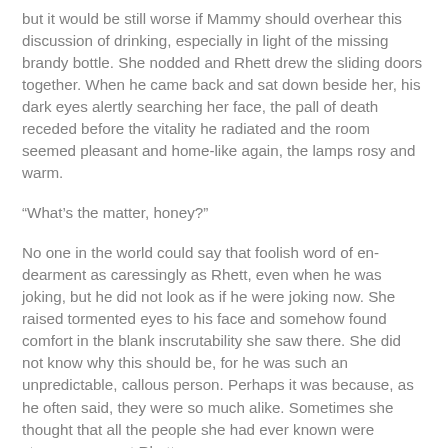but it would be still worse if Mammy should overhear this discussion of drinking, especially in light of the missing brandy bottle. She nodded and Rhett drew the sliding doors together. When he came back and sat down beside her, his dark eyes alertly searching her face, the pall of death receded before the vitality he radiated and the room seemed pleasant and home-like again, the lamps rosy and warm.
“What’s the matter, honey?”
No one in the world could say that foolish word of endearment as caressingly as Rhett, even when he was joking, but he did not look as if he were joking now. She raised tormented eyes to his face and somehow found comfort in the blank inscrutability she saw there. She did not know why this should be, for he was such an unpredictable, callous person. Perhaps it was because, as he often said, they were so much alike. Sometimes she thought that all the people she had ever known were strangers except Rhett.
“Can’t you tell me?” he took her hand, oddly gentle. “It’s more than old Frank leaving you? Do you need money?”